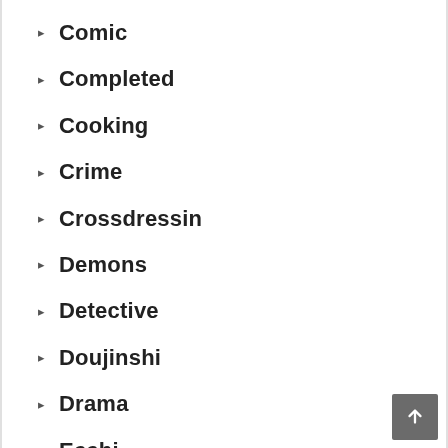Comic
Completed
Cooking
Crime
Crossdressin
Demons
Detective
Doujinshi
Drama
Ecchi
Fantasy
Full Color
Game